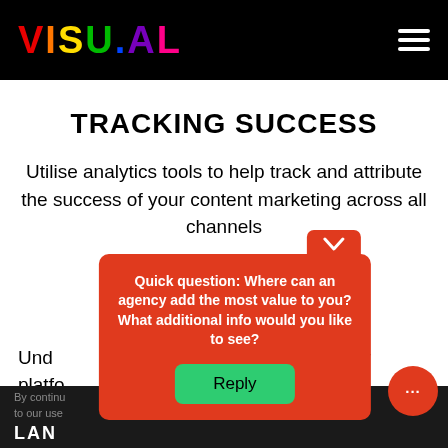VISU.AL
TRACKING SUCCESS
Utilise analytics tools to help track and attribute the success of your content marketing across all channels
FOCUS
Understand the significance of technology platforms... at your
[Figure (screenshot): Popup overlay with orange/red background asking: Quick question: Where can an agency add the most value to you? What additional info would you like to see? With a Reply button in green.]
By continuing to use this site you consent to our use of cookies. LAN